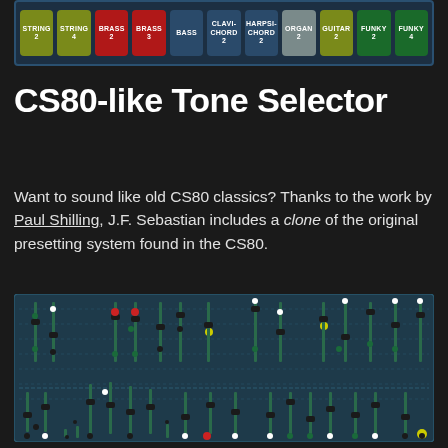[Figure (screenshot): CS80-like tone selector panel showing buttons: STRING 2 (olive), STRING 4 (olive), BRASS 2 (red), BRASS 3 (red), BASS (dark blue), CLAVI-CHORD 2 (dark blue), HARPSI-CHORD 2 (dark blue), ORGAN 2 (gray), GUITAR 2 (olive), FUNKY 2 (green), FUNKY 4 (green)]
CS80-like Tone Selector
Want to sound like old CS80 classics? Thanks to the work by Paul Shilling, J.F. Sebastian includes a clone of the original presetting system found in the CS80.
[Figure (screenshot): CS80 synthesizer clone interface showing fader controls, sliders, and knobs arranged in two rows with colored indicators (green, red, yellow, white) on a dark teal/blue background panel.]